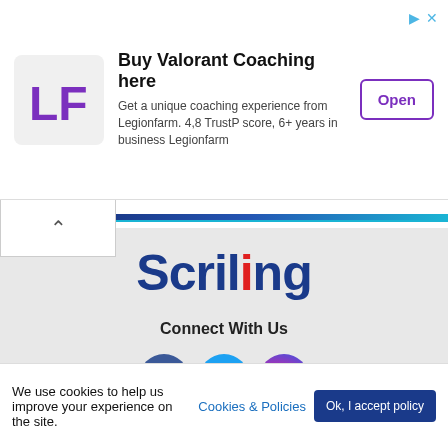[Figure (infographic): Advertisement banner for Legionfarm Valorant Coaching. Shows LF logo, title 'Buy Valorant Coaching here', description text, and an Open button.]
Scriling
Connect With Us
[Figure (infographic): Social media icons: Facebook (blue circle with f), Twitter (cyan circle with bird), Instagram (gradient circle with camera)]
Copyright @ 2022 scriling.com.
Part of Niriv Corporation Network. All rights reserved.
We use cookies to help us improve your experience on the site.
Cookies & Policies
Ok, I accept policy